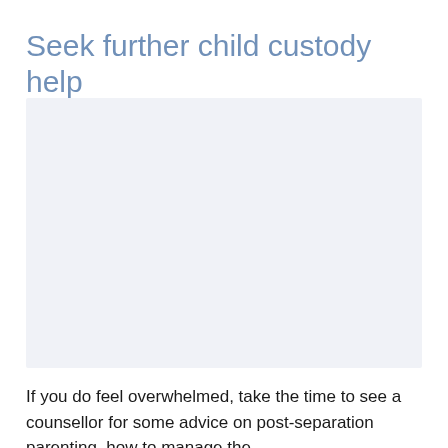Seek further child custody help
[Figure (photo): Image placeholder with light blue-grey background, likely a photo related to child custody or parenting]
If you do feel overwhelmed, take the time to see a counsellor for some advice on post-separation parenting, how to manage the